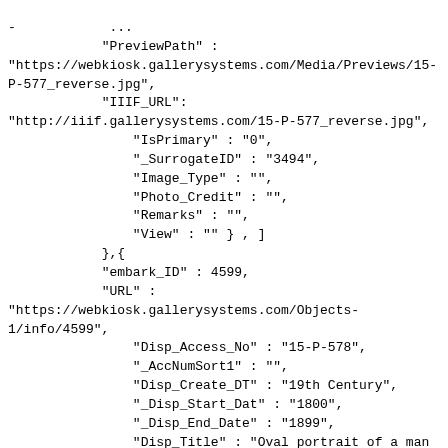- ...
            "PreviewPath" :
"https://webkiosk.gallerysystems.com/Media/Previews/15-P-577_reverse.jpg",
            "IIIF_URL":
"http://iiif.gallerysystems.com/15-P-577_reverse.jpg",
                "IsPrimary" : "0",
                "_SurrogateID" : "3494",
                "Image_Type" : "",
                "Photo_Credit" : "",
                "Remarks" : "",
                "View" : "" } , ]
            },{  
            "embark_ID" : 4599,
            "URL" :
"https://webkiosk.gallerysystems.com/Objects-1/info/4599",
                "Disp_Access_No" : "15-P-578",
                "_AccNumSort1" : "",
                "Disp_Create_DT" : "19th Century",
                "_Disp_Start_Dat" : "1800",
                "_Disp_End_Date" : "1899",
                "Disp_Title" : "Oval portrait of a man
",
                "Alt_Title" : "",
                "Obj_Title" : "",
                "Series_Title" : "",
                "Disp_Maker_1" : "Unknown Artist",
                "Sort_Artist" : "Unknown Artist",
                "Disp_Dimen" : "3 3/4 x 2 3/8 in. (9.5 x 6 cm)"